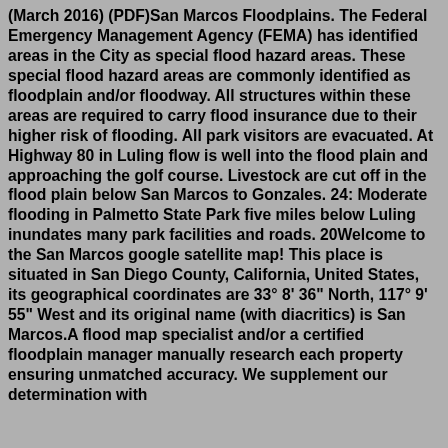(March 2016) (PDF)San Marcos Floodplains. The Federal Emergency Management Agency (FEMA) has identified areas in the City as special flood hazard areas. These special flood hazard areas are commonly identified as floodplain and/or floodway. All structures within these areas are required to carry flood insurance due to their higher risk of flooding. All park visitors are evacuated. At Highway 80 in Luling flow is well into the flood plain and approaching the golf course. Livestock are cut off in the flood plain below San Marcos to Gonzales. 24: Moderate flooding in Palmetto State Park five miles below Luling inundates many park facilities and roads. 20Welcome to the San Marcos google satellite map! This place is situated in San Diego County, California, United States, its geographical coordinates are 33° 8' 36" North, 117° 9' 55" West and its original name (with diacritics) is San Marcos.A flood map specialist and/or a certified floodplain manager manually research each property ensuring unmatched accuracy. We supplement our determination with...